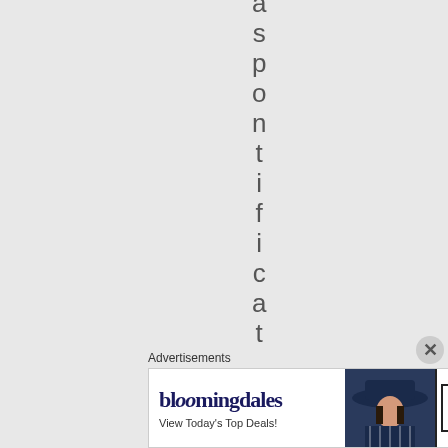aspontificate
Advertisements
[Figure (other): Bloomingdale's advertisement banner showing logo, 'View Today's Top Deals!' tagline, a model wearing a wide-brim hat, and a 'SHOP NOW >' call-to-action button]